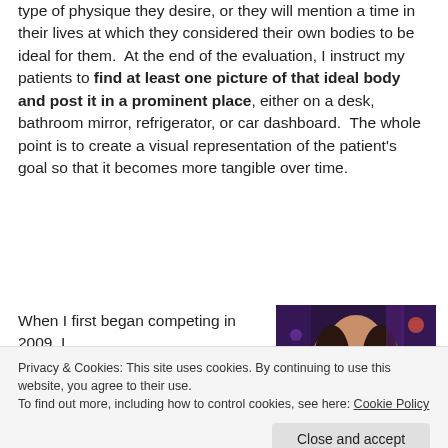type of physique they desire, or they will mention a time in their lives at which they considered their own bodies to be ideal for them. At the end of the evaluation, I instruct my patients to find at least one picture of that ideal body and post it in a prominent place, either on a desk, bathroom mirror, refrigerator, or car dashboard. The whole point is to create a visual representation of the patient's goal so that it becomes more tangible over time.
When I first began competing in 2009, I
[Figure (photo): Photo of a smiling woman with long dark hair in a colorful stage/event setting with purple/pink lighting]
Privacy & Cookies: This site uses cookies. By continuing to use this website, you agree to their use.
To find out more, including how to control cookies, see here: Cookie Policy
Close and accept
printed from, and
[Figure (photo): Partial photo visible at bottom right, colorful stage setting]